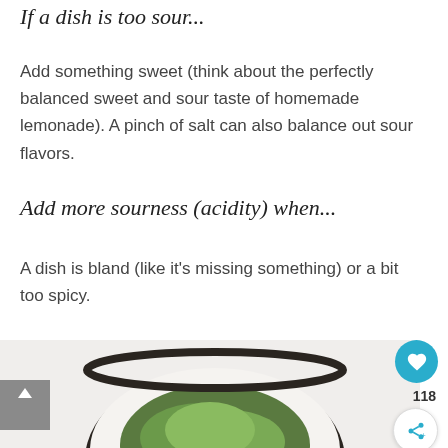If a dish is too sour...
Add something sweet (think about the perfectly balanced sweet and sour taste of homemade lemonade). A pinch of salt can also balance out sour flavors.
Add more sourness (acidity) when...
A dish is bland (like it’s missing something) or a bit too spicy.
[Figure (photo): A bowl of fresh green herbs/salad leaves viewed from above, with a dark rimmed bowl on a white background. A back-to-top arrow button is visible on the left, and a heart icon with count 118 and a share icon on the right.]